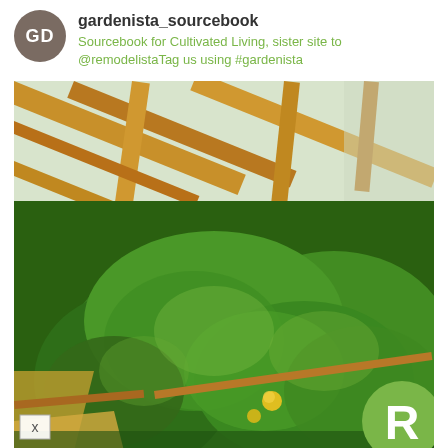gardenista_sourcebook
Sourcebook for Cultivated Living, sister site to @remodelistaTag us using #gardenista
[Figure (photo): Photograph of vegetable plants growing in raised wooden greenhouse beds with wooden frame structure visible, green leafy plants (possibly squash or zucchini) with yellow flowers, sandy soil visible in foreground beds. An R logo badge (green circle with white R) appears in the bottom right corner, and an X close button appears in bottom left.]